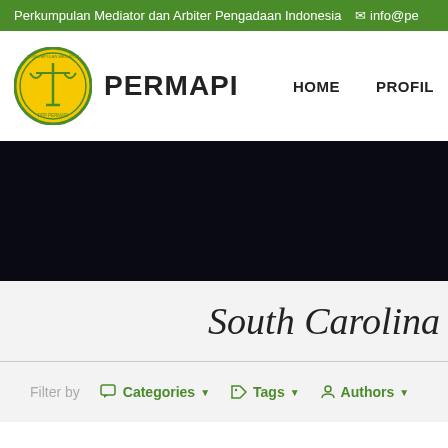Perkumpulan Mediator dan Arbiter Pengadaan Indonesia  info@pe...
[Figure (logo): PERMAPI circular logo with scales of justice, yellow and green colors]
PERMAPI
HOME   PROFIL
[Figure (photo): Black banner / hero image area]
South Carolina
Filter by  Categories ▼  Tags ▼  Authors ▼